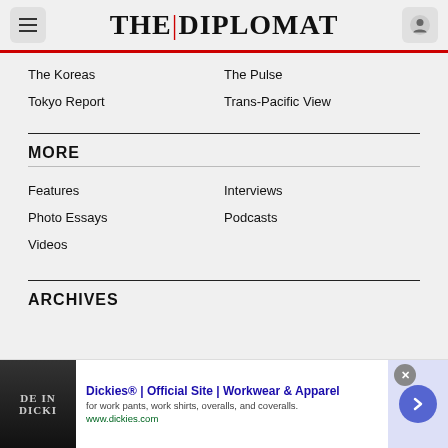THE | DIPLOMAT
The Koreas
The Pulse
Tokyo Report
Trans-Pacific View
MORE
Features
Interviews
Photo Essays
Podcasts
Videos
ARCHIVES
[Figure (other): Advertisement banner: Dickies Official Site - Workwear & Apparel. Shows 'DE IN DICKI' image on left, ad text in center, and a purple arrow button on right.]